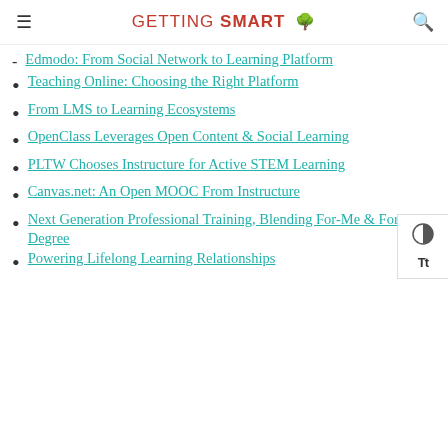GETTING SMART
Edmodo: From Social Network to Learning Platform
Teaching Online: Choosing the Right Platform
From LMS to Learning Ecosystems
OpenClass Leverages Open Content & Social Learning
PLTW Chooses Instructure for Active STEM Learning
Canvas.net: An Open MOOC From Instructure
Next Generation Professional Training, Blending For-Me & For-Degree
Powering Lifelong Learning Relationships